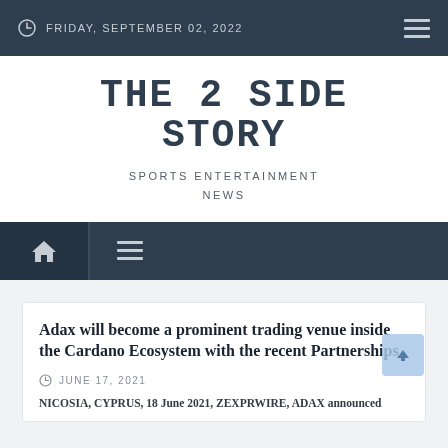FRIDAY, SEPTEMBER 02, 2022
THE 2 SIDE STORY
SPORTS ENTERTAINMENT NEWS
Adax will become a prominent trading venue inside the Cardano Ecosystem with the recent Partnerships
JUNE 17, 2021
NICOSIA, CYPRUS, 18 June 2021, ZEXPRWIRE, ADAX announced...